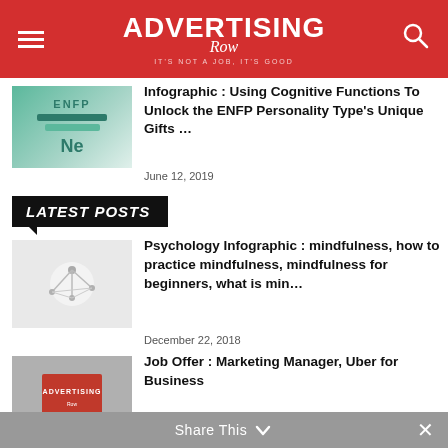ADVERTISING Row — It's not a job, it's good
[Figure (illustration): Thumbnail for ENFP infographic article — green/teal background with ENFP text and Ne symbol]
Infographic : Using Cognitive Functions To Unlock the ENFP Personality Type's Unique Gifts …
June 12, 2019
LATEST POSTS
[Figure (photo): Thumbnail for mindfulness article — light gray/white background with abstract network structure]
Psychology Infographic : mindfulness, how to practice mindfulness, mindfulness for beginners, what is min…
December 22, 2018
[Figure (photo): Thumbnail for advertising/job offer article — person holding red Advertising sign]
Job Offer : Marketing Manager, Uber for Business
August 16, 2019
Share This ∨  ×